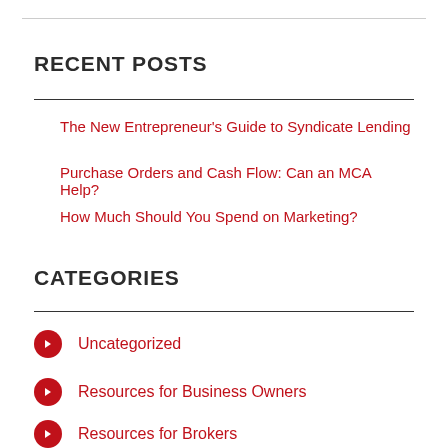RECENT POSTS
The New Entrepreneur's Guide to Syndicate Lending
Purchase Orders and Cash Flow: Can an MCA Help?
How Much Should You Spend on Marketing?
CATEGORIES
Uncategorized
Resources for Business Owners
Resources for Brokers